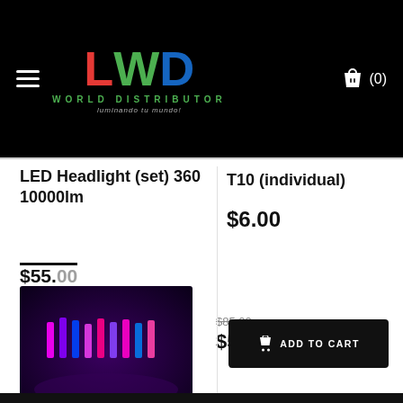LWD WORLD DISTRIBUTOR — luminando tu mundo
LED Headlight (set) 360 10000lm
$55.00
[Figure (photo): LED headlight product photo showing colorful LED lights in purple, blue, and pink tones]
$85.00
$57.00
T10 (individual)
$6.00
ADD TO CART
This is a cookie agreement request — you can customize it or disable on the backoffice. Cookies help us to provide you the best experience using our website.
Privacy
Questions? We can help. Chat with us now.